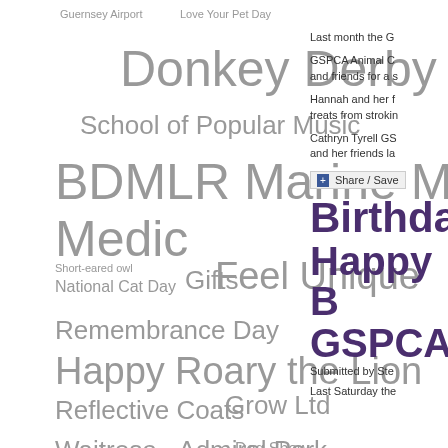[Figure (infographic): Tag cloud with various terms in different sizes and shades of gray, including: Guernsey Airport, Love Your Pet Day, Donkey Derby, School of Popular Music, BDMLR Marine Mammal Medic, Short-eared owl, National Cat Day, Gifts, Feel Unique, Remembrance Day, Happy, Roary the Lion, Reflective Coats, Grow Ltd, Waitrose - Admiral Park, Dog Show, QEii Marina, Acorn House, BachmannHR Group Ltd, Car Boot Sale, Brinsea, Link Centre, Christmas Fayre, Winter Advice, World Stray Animal Day]
Last month the G
GSPCA Animal C and friends for a s
Hannah and her f treats from strokin
Cathryn Tyrell GS and her friends la
+ Share / Save
Birthday
Happy B
GSPCA
Submitted by Ste
Last Saturday the